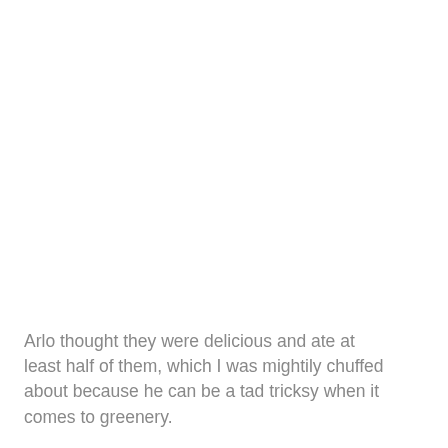Arlo thought they were delicious and ate at least half of them, which I was mightily chuffed about because he can be a tad tricksy when it comes to greenery.